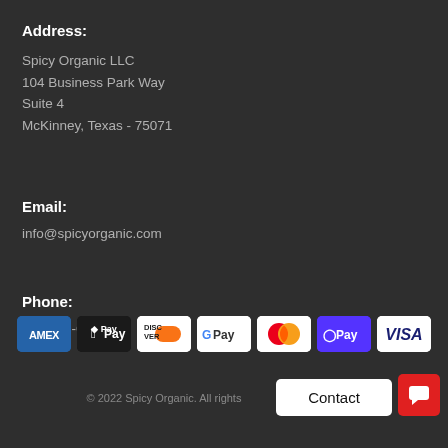Address:
Spicy Organic LLC
104 Business Park Way
Suite 4
McKinney, Texas - 75071
Email:
info@spicyorganic.com
Phone:
866-256-6772
[Figure (logo): Payment method icons: American Express (AMEX), Apple Pay, Discover, Google Pay, Mastercard, Shop Pay (O Pay), Visa]
© 2022 Spicy Organic. All rights